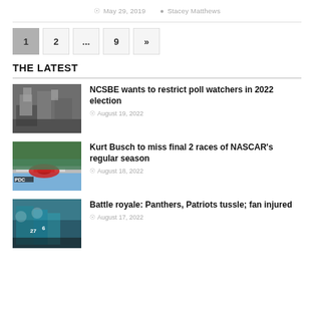May 29, 2019   Stacey Matthews
1  2  ...  9  »
THE LATEST
[Figure (photo): People in a room with tables, election-related setting]
NCSBE wants to restrict poll watchers in 2022 election
August 19, 2022
[Figure (photo): Race car on a track, NASCAR related]
Kurt Busch to miss final 2 races of NASCAR's regular season
August 18, 2022
[Figure (photo): Football players in teal uniforms]
Battle royale: Panthers, Patriots tussle; fan injured
August 17, 2022